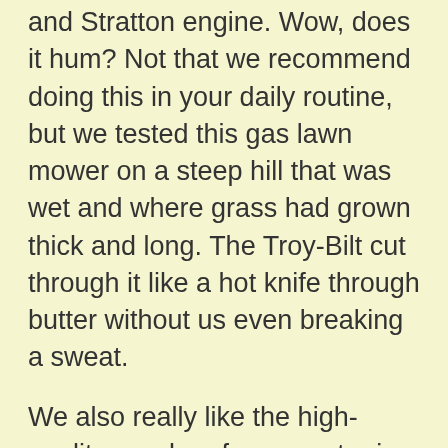and Stratton engine. Wow, does it hum? Not that we recommend doing this in your daily routine, but we tested this gas lawn mower on a steep hill that was wet and where grass had grown thick and long. The Troy-Bilt cut through it like a hot knife through butter without us even breaking a sweat.
We also really like the high-quality rear bag for current price point, so that you can collect all of the clippings as you go. The bag is simple to attach 'n' detach and comes with a convenient carrying handle. There is also a side discharge and hood if you prefer. The included mulch kit cuts and recuts grass into